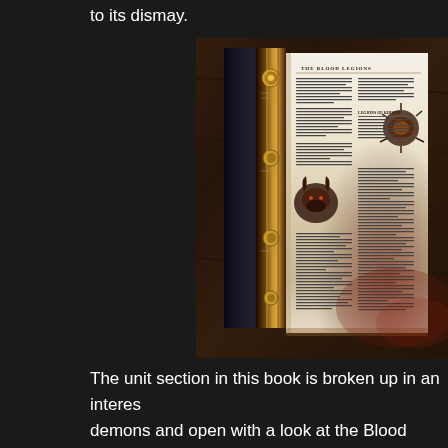to its dismay.
[Figure (photo): A Warhammer tabletop gaming book opened to a section titled 'The Blood Legions', showing columns of text and illustrated miniature artwork, with the ornately decorated book spine and cover visible on the left, placed on a wooden surface.]
The unit section in this book is broken up in an interes demons and open with a look at the Blood Legions of K get rules for in this book, the Reapers of Vengeance a Bloodlords are Khorne's most preeminent legion, and c